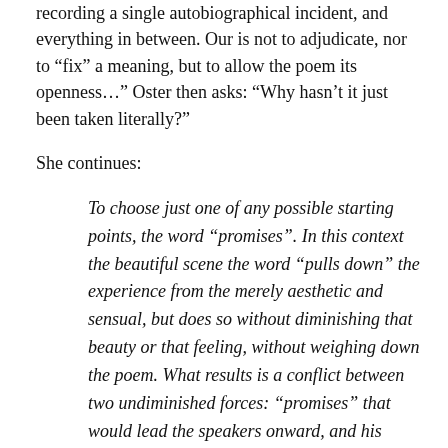recording a single autobiographical incident, and everything in between. Our is not to adjudicate, nor to “fix” a meaning, but to allow the poem its openness…” Oster then asks: “Why hasn’t it just been taken literally?”
She continues:
To choose just one of any possible starting points, the word “promises”. In this context the beautiful scene the word “pulls down” the experience from the merely aesthetic and sensual, but does so without diminishing that beauty or that feeling, without weighing down the poem. What results is a conflict between two undiminished forces: “promises” that would lead the speakers onward, and his desire to give in to his intoxication with the beauty and peacefulness of the